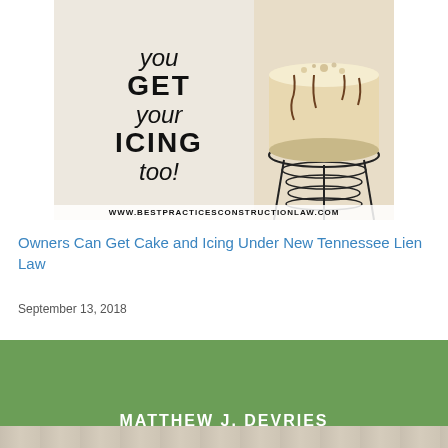[Figure (photo): Photo of a cake on a wire stand with handwritten text reading 'you GET your ICING too!' and the URL www.bestpracticesconstruction law.com at the bottom]
Owners Can Get Cake and Icing Under New Tennessee Lien Law
September 13, 2018
MATTHEW J. DEVRIES